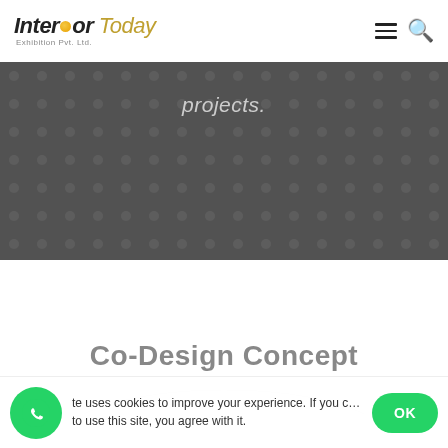Interior Today Exhibition Pvt. Ltd.
[Figure (screenshot): Dark banner with dot pattern overlay showing partial italic text 'projects.']
Co-Design Concept
This site uses cookies to improve your experience. If you continue to use this site, you agree with it.